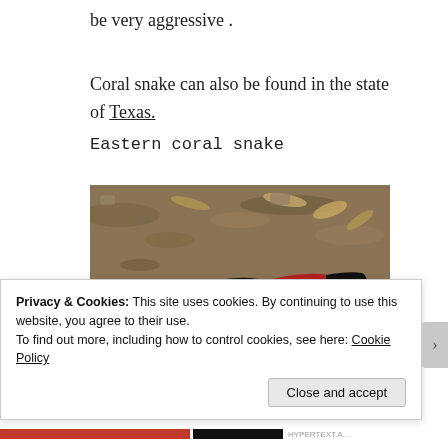be very aggressive .
Coral snake can also be found in the state of Texas.
Eastern coral snake
[Figure (photo): A coral snake with distinctive red, black, and white banding coiled on brown rocky/leafy ground.]
Privacy & Cookies: This site uses cookies. By continuing to use this website, you agree to their use.
To find out more, including how to control cookies, see here: Cookie Policy